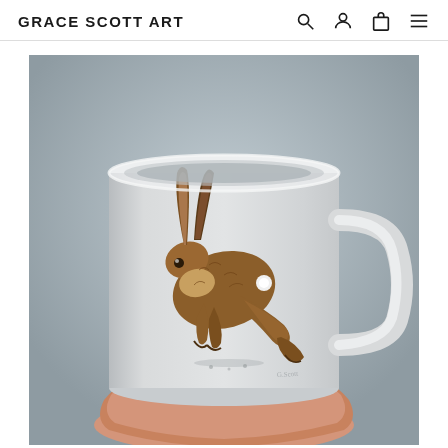GRACE SCOTT ART
[Figure (photo): A white ceramic mug with a painted running hare illustration on a grey background, held in an upturned human hand. The mug shows a brown hare mid-run painted in a watercolour style.]